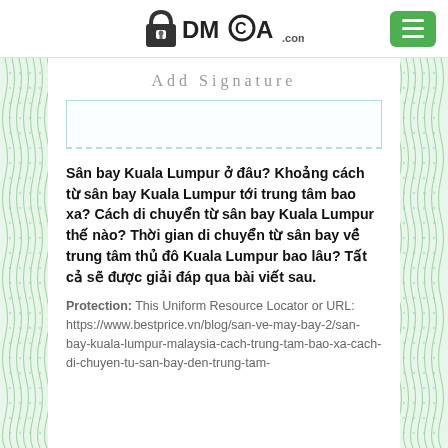DMCA.com logo and menu button
Add Signature
Sân bay Kuala Lumpur ở đâu? Khoảng cách từ sân bay Kuala Lumpur tới trung tâm bao xa? Cách di chuyển từ sân bay Kuala Lumpur thế nào? Thời gian di chuyển từ sân bay về trung tâm thủ đô Kuala Lumpur bao lâu? Tất cả sẽ được giải đáp qua bài viết sau.
Protection: This Uniform Resource Locator or URL: https://www.bestprice.vn/blog/san-ve-may-bay-2/san-bay-kuala-lumpur-malaysia-cach-trung-tam-bao-xa-cach-di-chuyen-tu-san-bay-den-trung-tam-